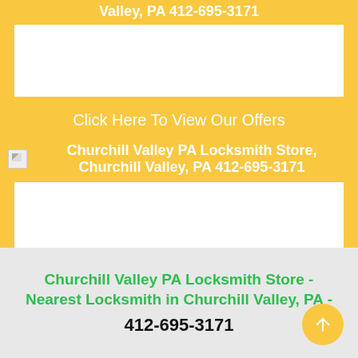Valley, PA 412-695-3171
[Figure (other): White advertisement/image placeholder box]
Click Here To View Our Offers
[Figure (other): Broken image icon with alt text: Churchill Valley PA Locksmith Store, Churchill Valley, PA 412-695-3171]
[Figure (other): White advertisement/image placeholder box]
Churchill Valley PA Locksmith Store - Nearest Locksmith in Churchill Valley, PA - 412-695-3171